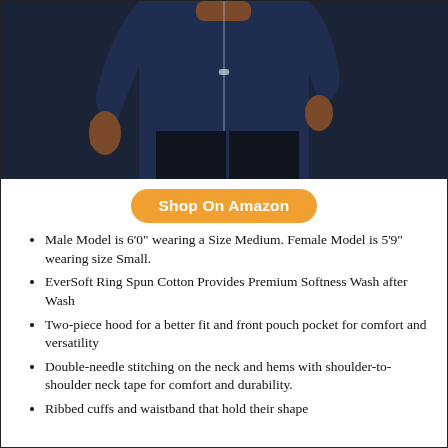[Figure (photo): Photo of a male model wearing a dark navy hoodie and dark jeans, cropped to show torso and hands]
Shop On Amazon
Male Model is 6'0" wearing a Size Medium. Female Model is 5'9" wearing size Small.
EverSoft Ring Spun Cotton Provides Premium Softness Wash after Wash
Two-piece hood for a better fit and front pouch pocket for comfort and versatility
Double-needle stitching on the neck and hems with shoulder-to-shoulder neck tape for comfort and durability.
Ribbed cuffs and waistband that hold their shape